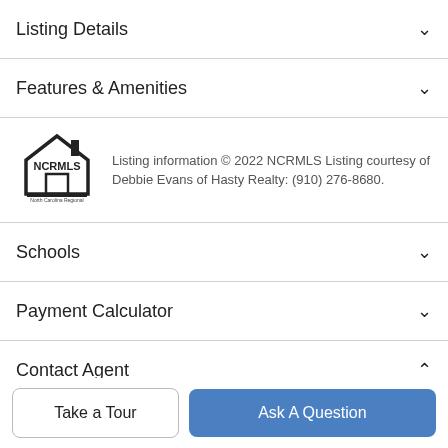Listing Details
Features & Amenities
[Figure (logo): NCRMLS North Carolina Regional MLS logo]
Listing information © 2022 NCRMLS Listing courtesy of Debbie Evans of Hasty Realty: (910) 276-8680.
Schools
Payment Calculator
Contact Agent
[Figure (photo): Agent profile photo (partially visible circle)]